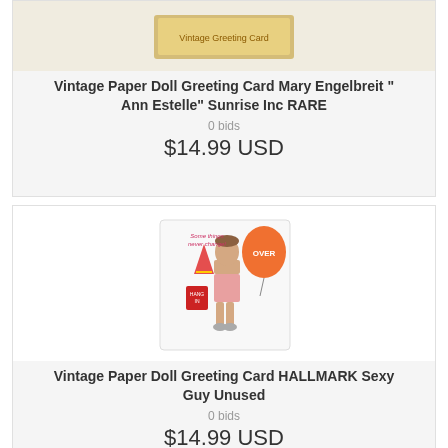[Figure (photo): Vintage paper doll greeting card product thumbnail image at top]
Vintage Paper Doll Greeting Card Mary Engelbreit "Ann Estelle" Sunrise Inc RARE
0 bids
$14.99 USD
[Figure (photo): Vintage Paper Doll Greeting Card Hallmark Sexy Guy product photo showing a man in boxers with party accessories]
Vintage Paper Doll Greeting Card HALLMARK Sexy Guy Unused
0 bids
$14.99 USD